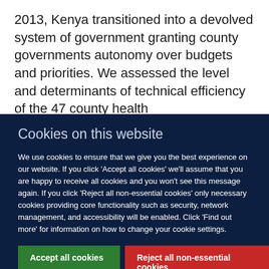2013, Kenya transitioned into a devolved system of government granting county governments autonomy over budgets and priorities. We assessed the level and determinants of technical efficiency of the 47 county health
Cookies on this website
We use cookies to ensure that we give you the best experience on our website. If you click 'Accept all cookies' we'll assume that you are happy to receive all cookies and you won't see this message again. If you click 'Reject all non-essential cookies' only necessary cookies providing core functionality such as security, network management, and accessibility will be enabled. Click 'Find out more' for information on how to change your cookie settings.
Accept all cookies
Reject all non-essential cookies
Find out more